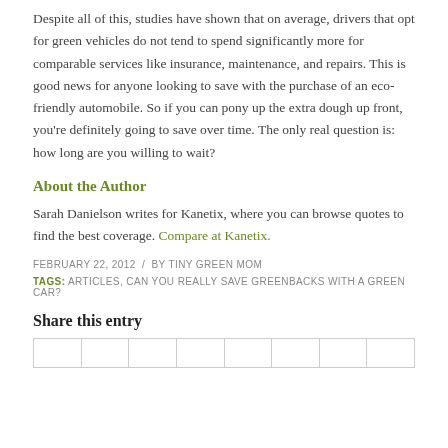Despite all of this, studies have shown that on average, drivers that opt for green vehicles do not tend to spend significantly more for comparable services like insurance, maintenance, and repairs. This is good news for anyone looking to save with the purchase of an eco-friendly automobile. So if you can pony up the extra dough up front, you’re definitely going to save over time. The only real question is: how long are you willing to wait?
About the Author
Sarah Danielson writes for Kanetix, where you can browse quotes to find the best coverage. Compare at Kanetix.
FEBRUARY 22, 2012  /  BY TINY GREEN MOM
TAGS: ARTICLES, CAN YOU REALLY SAVE GREENBACKS WITH A GREEN CAR?
Share this entry
|  |  |  |  |  |  |  |  |